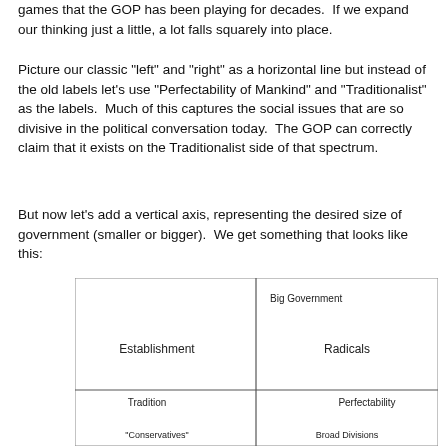games that the GOP has been playing for decades.  If we expand our thinking just a little, a lot falls squarely into place.
Picture our classic "left" and "right" as a horizontal line but instead of the old labels let's use "Perfectability of Mankind" and "Traditionalist" as the labels.  Much of this captures the social issues that are so divisive in the political conversation today.  The GOP can correctly claim that it exists on the Traditionalist side of that spectrum.
But now let's add a vertical axis, representing the desired size of government (smaller or bigger).  We get something that looks like this:
[Figure (other): A two-axis political quadrant diagram. Horizontal axis labeled 'Tradition' on the left and 'Perfectability' on the right. Vertical axis labeled 'Big Government' at the top. Upper-left quadrant: 'Establishment'. Upper-right quadrant: 'Radicals'. Bottom labels partially visible: '"Conservatives"' on left and 'Broad Divisions' on right.]